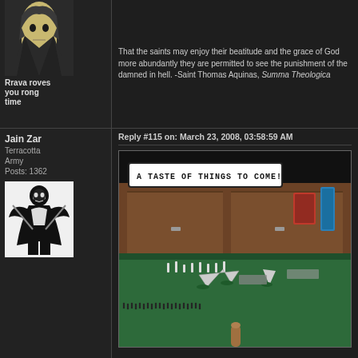Rrava roves you rong time
That the saints may enjoy their beatitude and the grace of God more abundantly they are permitted to see the punishment of the damned in hell. -Saint Thomas Aquinas, Summa Theologica
Jain Zar
Terracotta Army
Posts: 1362
Reply #115 on: March 23, 2008, 03:58:59 AM
[Figure (photo): A wargaming table with miniature figurines on a green surface, with a comic-style caption bubble reading 'A TASTE OF THINGS TO COME!']